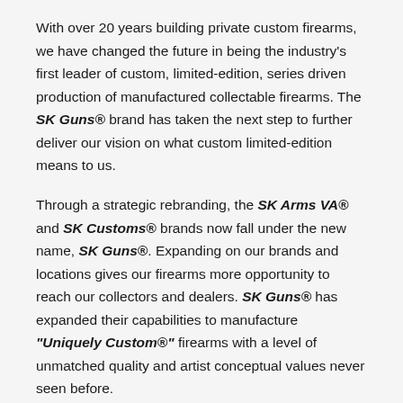With over 20 years building private custom firearms, we have changed the future in being the industry's first leader of custom, limited-edition, series driven production of manufactured collectable firearms. The SK Guns® brand has taken the next step to further deliver our vision on what custom limited-edition means to us.
Through a strategic rebranding, the SK Arms VA® and SK Customs® brands now fall under the new name, SK Guns®. Expanding on our brands and locations gives our firearms more opportunity to reach our collectors and dealers. SK Guns® has expanded their capabilities to manufacture "Uniquely Custom®" firearms with a level of unmatched quality and artist conceptual values never seen before.
Our team of master engravers, expert finishers, historians, and master gunsmiths dedicate themselves to every detail within our brand of SK Customs® production lines of custom